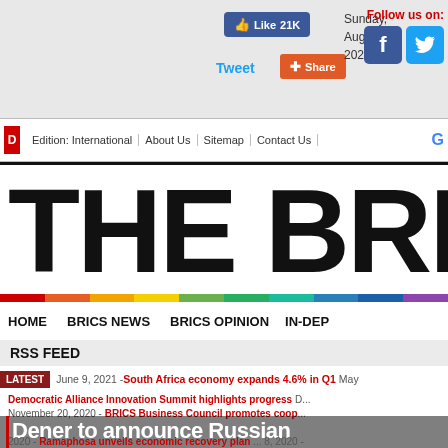Like 21K | Tweet | Share | Sunday, August 21, 2022 | Follow us on: [Facebook] [Twitter]
Edition: International | About Us | Sitemap | Contact Us
THE BRIC
HOME  BRICS NEWS  BRICS OPINION  IN-DEP
RSS FEED
LATEST  June 9, 2021 - South Africa economy expands 4.6% in Q1  May... Democratic Alliance Innovation Summit highlights progress D... November 20, 2020 - BRICS Business Council promotes coop...
Dener to announce Russian partnership at summit